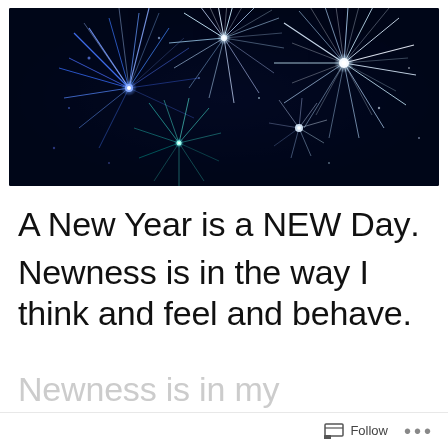[Figure (photo): Fireworks display against a dark night sky, featuring blue, white, and teal starbursts with radiating light trails]
A New Year is a NEW Day.
Newness is in the way I think and feel and behave.
Newness is in my
Follow ...